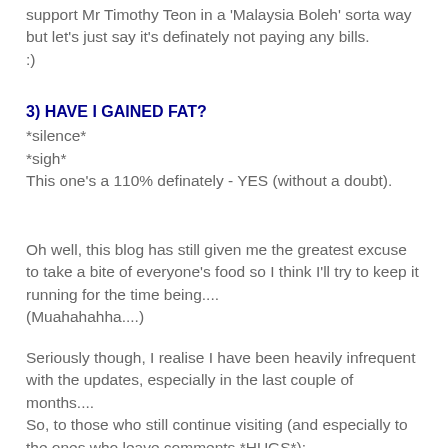support Mr Timothy Teon in a 'Malaysia Boleh' sorta way but let's just say it's definately not paying any bills.
:)
3) HAVE I GAINED FAT?
*silence*
*sigh*
This one's a 110% definately - YES (without a doubt).
Oh well, this blog has still given me the greatest excuse to take a bite of everyone's food so I think I'll try to keep it running for the time being....
(Muahahahha....)
Seriously though, I realise I have been heavily infrequent with the updates, especially in the last couple of months....
So, to those who still continue visiting (and especially to the ones who leave comments *HUGS*):
I am so so sorry.
Thanks for all your support so far... but this heartbreak is